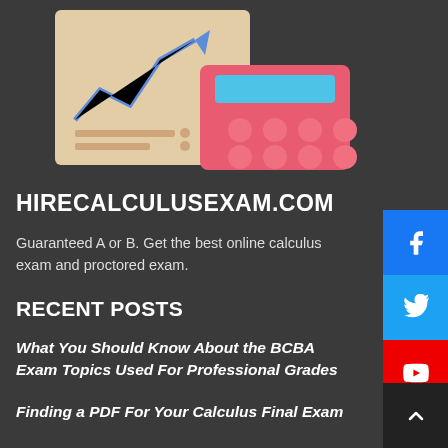[Figure (illustration): Illustration of a financial report/chart document with an upward arrow graph icon and a pink calculator, on a dark background.]
HIRECALCULUSEXAM.COM
Guaranteed A or B. Get the best online calculus exam and proctored exam.
RECENT POSTS
What You Should Know About the BCBA Exam Topics Used For Professional Grades
Finding a PDF For Your Calculus Final Exam
Getting Your Calculus 1 Exam and Solutions Back in